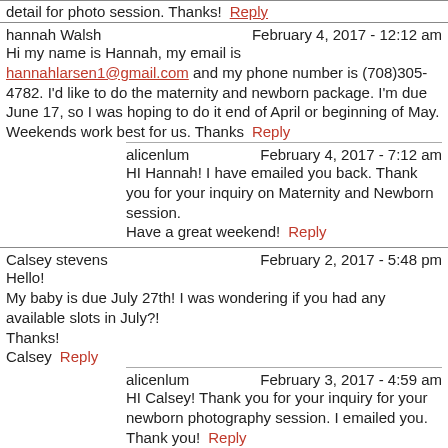detail for photo session. Thanks!  Reply
hannah Walsh   February 4, 2017 - 12:12 am
Hi my name is Hannah, my email is hannahlarsen1@gmail.com and my phone number is (708)305-4782. I'd like to do the maternity and newborn package. I'm due June 17, so I was hoping to do it end of April or beginning of May. Weekends work best for us. Thanks   Reply
alicenlum   February 4, 2017 - 7:12 am
HI Hannah! I have emailed you back. Thank you for your inquiry on Maternity and Newborn session.
Have a great weekend!  Reply
Calsey stevens   February 2, 2017 - 5:48 pm
Hello!
My baby is due July 27th! I was wondering if you had any available slots in July?!
Thanks!
Calsey  Reply
alicenlum   February 3, 2017 - 4:59 am
HI Calsey! Thank you for your inquiry for your newborn photography session. I emailed you. Thank you!  Reply
Brianna Jones   December 26, 2016 - 5:09 pm